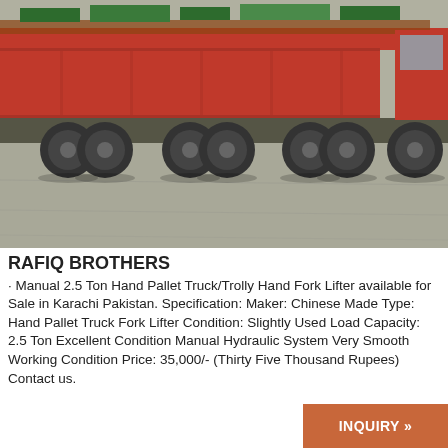[Figure (photo): Photograph of a large red flatbed semi-truck/trailer parked on a concrete surface, viewed from the side/rear showing multiple large wheels and axles.]
RAFIQ BROTHERS
· Manual 2.5 Ton Hand Pallet Truck/Trolly Hand Fork Lifter available for Sale in Karachi Pakistan. Specification: Maker: Chinese Made Type: Hand Pallet Truck Fork Lifter Condition: Slightly Used Load Capacity: 2.5 Ton Excellent Condition Manual Hydraulic System Very Smooth Working Condition Price: 35,000/- (Thirty Five Thousand Rupees) Contact us.
INQUIRY »